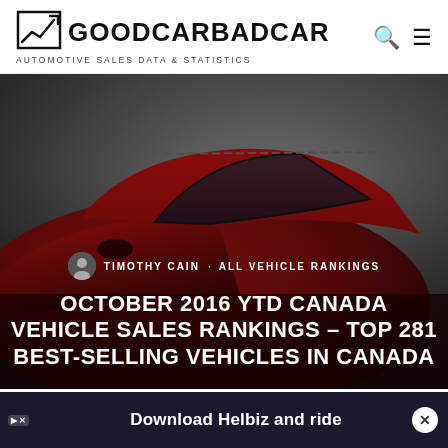[Figure (logo): GoodCarBadCar logo with upward trending chart icon, site name GOODCARBADCAR in bold, subtitle AUTOMOTIVE SALES DATA & STATISTICS]
[Figure (photo): Red SUV (crossover) photographed from front-left angle against a dark grey studio background, used as hero image]
TIMOTHY CAIN · ALL VEHICLE RANKINGS
OCTOBER 2016 YTD CANADA VEHICLE SALES RANKINGS – TOP 281 BEST-SELLING VEHICLES IN CANADA
[Figure (infographic): Advertisement bar: Download Helbiz and ride]